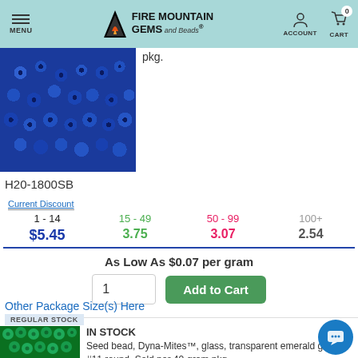Fire Mountain Gems and Beads — MENU | ACCOUNT | CART 0
pkg.
[Figure (photo): Blue seed beads scattered on white background]
H20-1800SB
| Current Discount | 1 - 14 | 15 - 49 | 50 - 99 | 100+ |
| --- | --- | --- | --- | --- |
|  | $5.45 | 3.75 | 3.07 | 2.54 |
As Low As $0.07 per gram
Other Package Size(s) Here
REGULAR STOCK
[Figure (photo): Green transparent seed beads scattered]
IN STOCK
Seed bead, Dyna-Mites™, glass, transparent emerald green, #11 round. Sold per 40-gram pkg.